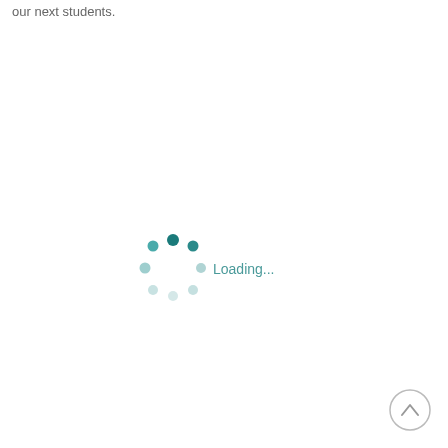our next students.
[Figure (other): Animated loading spinner made of dots arranged in a circle, with teal/dark teal dots at top and lighter grey-blue dots elsewhere, next to 'Loading...' text in teal]
[Figure (other): Scroll-to-top button: circular grey outlined button with an upward chevron arrow icon, positioned bottom-right corner]